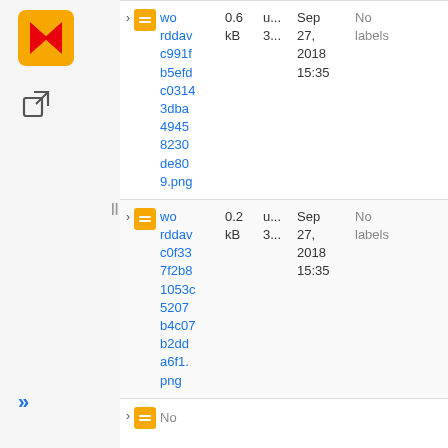| Name | Size | User | Date | Labels |
| --- | --- | --- | --- | --- |
| worddavc991fb5efdc03143dba49458230de809.png | 0.6 kB | u... 3... | Sep 27, 2018 15:35 | No labels |
| worddavc0f337f2b81053c5207b4c07b2dda6f1.png | 0.2 kB | u... 3... | Sep 27, 2018 15:35 | No labels |